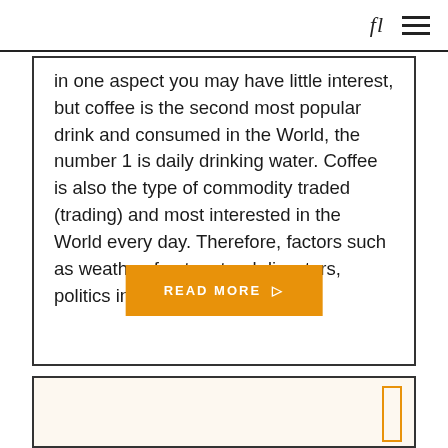fl ☰
in one aspect you may have little interest, but coffee is the second most popular drink and consumed in the World, the number 1 is daily drinking water. Coffee is also the type of commodity traded (trading) and most interested in the World every day. Therefore, factors such as weather, frost, natural disasters, politics in
READ MORE ▷
[Figure (other): Second card section with an orange rectangle border decoration on the right side, beige background]